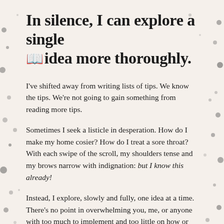In silence, I can explore a single idea more thoroughly.
I've shifted away from writing lists of tips. We know the tips. We're not going to gain something from reading more tips.
Sometimes I seek a listicle in desperation. How do I make my home cosier? How do I treat a sore throat? With each swipe of the scroll, my shoulders tense and my brows narrow with indignation: but I know this already!
Instead, I explore, slowly and fully, one idea at a time. There's no point in overwhelming you, me, or anyone with too much to implement and too little on how or why.